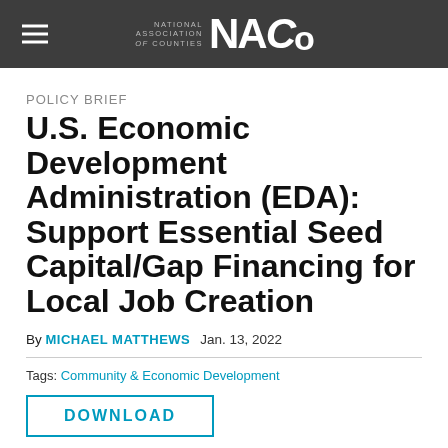NATIONAL ASSOCIATION of COUNTIES NACo
POLICY BRIEF
U.S. Economic Development Administration (EDA): Support Essential Seed Capital/Gap Financing for Local Job Creation
By MICHAEL MATTHEWS   Jan. 13, 2022
Tags: Community & Economic Development
DOWNLOAD